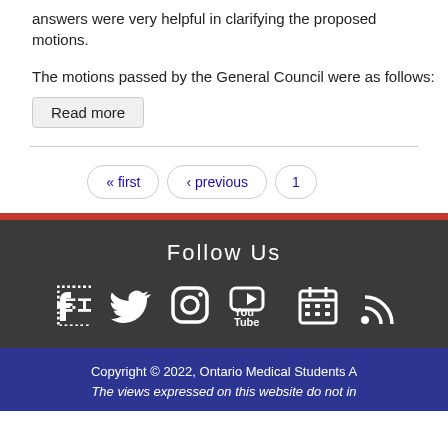answers were very helpful in clarifying the proposed motions.
The motions passed by the General Council were as follows:
Read more
« first  ‹ previous  1
Follow Us
[Figure (infographic): Social media icons: Facebook, Twitter, Instagram, YouTube, Calendar, RSS feed]
Copyright © 2022, Ontario Medical Students A
The views expressed on this website do not in